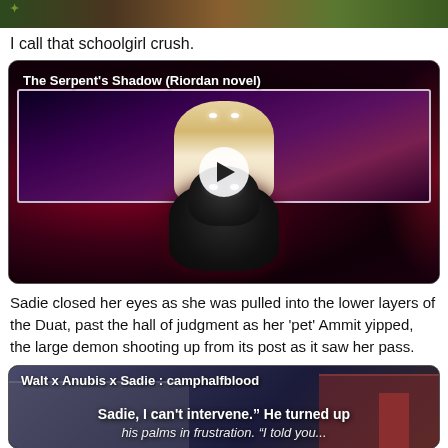[Figure (illustration): Top portion of an illustration showing anime-style characters with green and brown tones, partially cropped]
I call that schoolgirl crush.
[Figure (illustration): Video thumbnail for 'The Serpent's Shadow (Riordan novel)' showing anime-style characters: a light-skinned character at top inside a framed panel, and a dark wolf-like demon character below, on a dark red background. A play button is centered over the image.]
Sadie closed her eyes as she was pulled into the lower layers of the Duat, past the hall of judgment as her 'pet' Ammit yipped, the large demon shooting up from its post as it saw her pass.
[Figure (illustration): Video thumbnail for 'Walt x Anubis x Sadie : camphalfblood' showing a street/urban background with text overlay reading "Sadie, I can't intervene." He turned up his palms in frustration. "I told you..."]